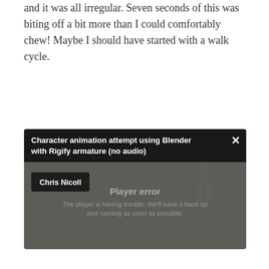and it was all irregular. Seven seconds of this was biting off a bit more than I could comfortably chew! Maybe I should have started with a walk cycle.
[Figure (screenshot): Embedded video player showing an error state. The video is titled 'Character animation attempt using Blender with Rigify armature (no audio)' by Chris Nicoll. The player shows a 'Player error' message with text 'The player is having trouble. We'll have it back up and running as soon as possible.' A dark silhouette figure is visible in the background.]